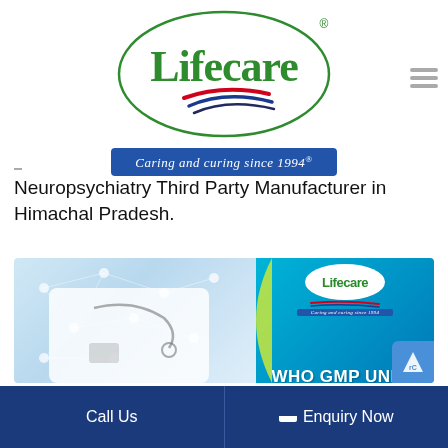[Figure (logo): Lifecare logo — green oval outline with 'Lifecare' in large green serif text, red/blue swoosh stripes below, registered trademark symbol]
[Figure (logo): Blue banner tagline: 'Caring and curing since 1994' in white italic script font]
Neuropsychiatry Third Party Manufacturer in Himachal Pradesh.
[Figure (photo): Composite image: left side shows a doctor in white coat with stethoscope and phone on network-connected background; right side is teal panel with Lifecare logo, tagline, and 'WHO GMP UNITS' text in white bold]
Call Us   Enquiry Now